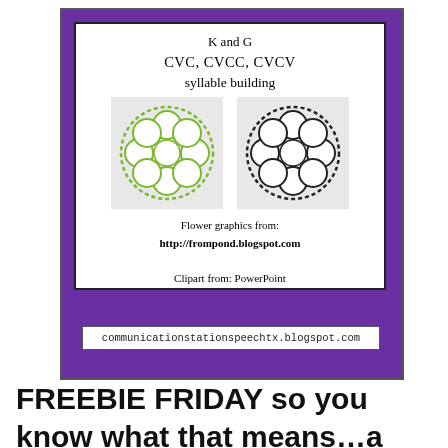[Figure (illustration): Educational product cover image with purple background. White inner box contains title text 'K and G / CVC, CVCC, CVCV / syllable building', two flower graphics (one with green outline, one with black outline) on grey backgrounds, credit text 'Flower graphics from: http://frompond.blogspot.com' and 'Clipart from: PowerPoint'. A white URL box at the bottom reads 'communicationstationspeechtx.blogspot.com'.]
FREEBIE FRIDAY so you know what that means…a freebie for you!  This is from me personally...